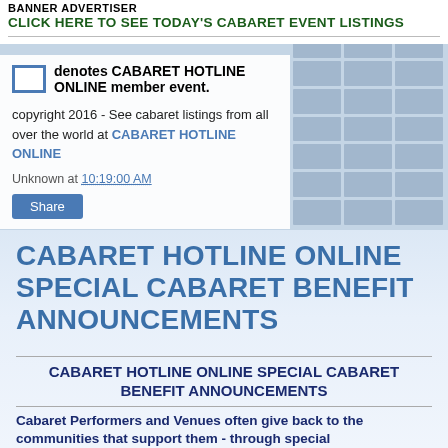BANNER ADVERTISER
CLICK HERE TO SEE TODAY'S CABARET EVENT LISTINGS
denotes CABARET HOTLINE ONLINE member event.
copyright 2016 - See cabaret listings from all over the world at CABARET HOTLINE ONLINE
Unknown at 10:19:00 AM
Share
CABARET HOTLINE ONLINE SPECIAL CABARET BENEFIT ANNOUNCEMENTS
CABARET HOTLINE ONLINE SPECIAL CABARET BENEFIT ANNOUNCEMENTS
Cabaret Performers and Venues often give back to the communities that support them - through special